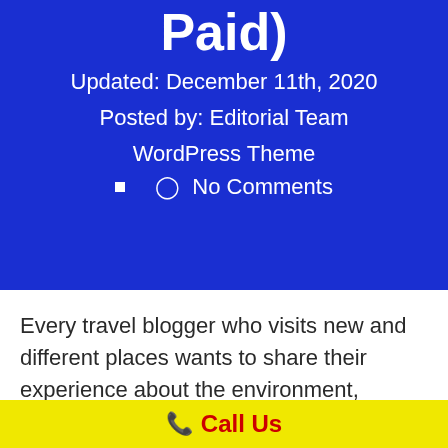Paid)
Updated: December 11th, 2020
Posted by: Editorial Team
WordPress Theme
■  ○  No Comments
Every travel blogger who visits new and different places wants to share their experience about the environment, people
📞 Call Us